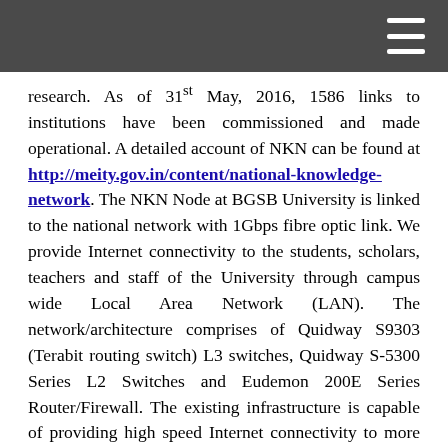research. As of 31st May, 2016, 1586 links to institutions have been commissioned and made operational. A detailed account of NKN can be found at http://meity.gov.in/content/national-knowledge-network. The NKN Node at BGSB University is linked to the national network with 1Gbps fibre optic link. We provide Internet connectivity to the students, scholars, teachers and staff of the University through campus wide Local Area Network (LAN). The network/architecture comprises of Quidway S9303 (Terabit routing switch) L3 switches, Quidway S-5300 Series L2 Switches and Eudemon 200E Series Router/Firewall. The existing infrastructure is capable of providing high speed Internet connectivity to more than 2000 users round the clock throughout the year. All the teaching departments, research laboratories, libraries, hostels, offices and other facilities are connected to the Internet and are providing uninterrupted connectivity through more than 500 copper links. These departments and other facilities are connected to the main distribution point in the Server Room of BGSBU-NKN through more than 7